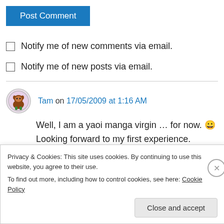Post Comment
Notify me of new comments via email.
Notify me of new posts via email.
Tam on 17/05/2009 at 1:16 AM
Well, I am a yaoi manga virgin … for now. 😀 Looking forward to my first experience.
BUT if they are Japanese, why are their names
Privacy & Cookies: This site uses cookies. By continuing to use this website, you agree to their use. To find out more, including how to control cookies, see here: Cookie Policy
Close and accept